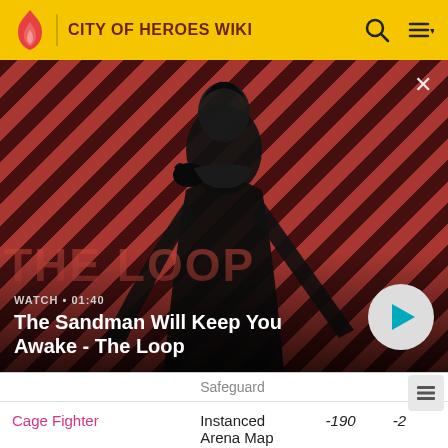CITY OF HEROES WIKI
[Figure (screenshot): Video thumbnail for 'The Sandman Will Keep You Awake - The Loop', showing a dark figure with a raven on diagonal red-and-dark striped background. Duration shown as 01:40.]
WATCH • 01:40
The Sandman Will Keep You Awake - The Loop
|  | Safeguard |  |  |
| --- | --- | --- | --- |
| Cage Fighter | Instanced Arena Map | -190 | -2 |
| Big Time | Pocket D | -151 | 20 |
| Trucker | Pocket D | 200 | -3 |